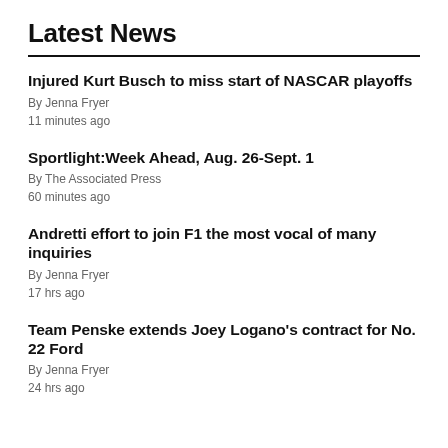Latest News
Injured Kurt Busch to miss start of NASCAR playoffs
By Jenna Fryer
11 minutes ago
Sportlight:Week Ahead, Aug. 26-Sept. 1
By The Associated Press
60 minutes ago
Andretti effort to join F1 the most vocal of many inquiries
By Jenna Fryer
17 hrs ago
Team Penske extends Joey Logano's contract for No. 22 Ford
By Jenna Fryer
24 hrs ago